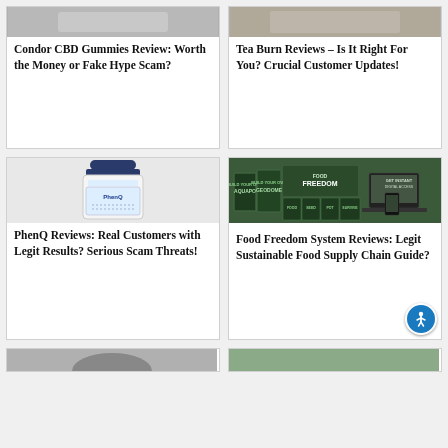[Figure (photo): Partial product image at top of Condor CBD Gummies card]
Condor CBD Gummies Review: Worth the Money or Fake Hype Scam?
[Figure (photo): Partial product image at top of Tea Burn Reviews card]
Tea Burn Reviews – Is It Right For You? Crucial Customer Updates!
[Figure (photo): PhenQ supplement bottle illustration]
PhenQ Reviews: Real Customers with Legit Results? Serious Scam Threats!
[Figure (illustration): Food Freedom System book collection and digital devices on dark green background]
Food Freedom System Reviews: Legit Sustainable Food Supply Chain Guide?
[Figure (photo): Partial product image at bottom left card]
[Figure (photo): Partial product image at bottom right card]